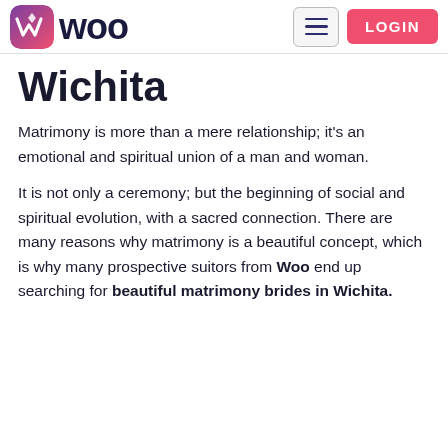Woo — navigation bar with logo, hamburger menu, and LOGIN button
Wichita
Matrimony is more than a mere relationship; it's an emotional and spiritual union of a man and woman.
It is not only a ceremony; but the beginning of social and spiritual evolution, with a sacred connection. There are many reasons why matrimony is a beautiful concept, which is why many prospective suitors from Woo end up searching for beautiful matrimony brides in Wichita.